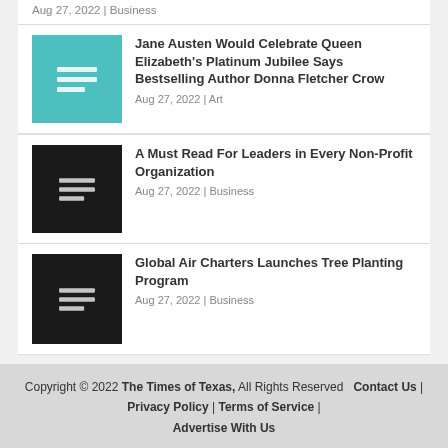Aug 27, 2022 | Business
Jane Austen Would Celebrate Queen Elizabeth's Platinum Jubilee Says Bestselling Author Donna Fletcher Crow
Aug 27, 2022 | Art
A Must Read For Leaders in Every Non-Profit Organization
Aug 27, 2022 | Business
Global Air Charters Launches Tree Planting Program
Aug 27, 2022 | Business
Copyright © 2022 The Times of Texas, All Rights Reserved   Contact Us | Privacy Policy | Terms of Service | Advertise With Us